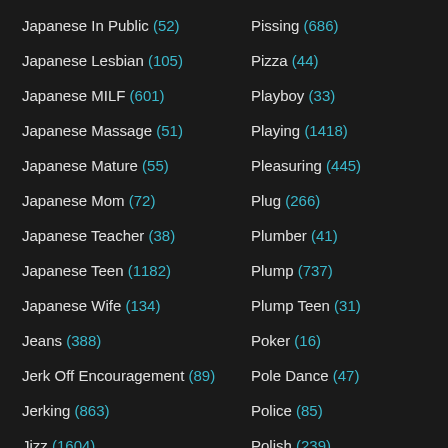Japanese In Public (52)
Japanese Lesbian (105)
Japanese MILF (601)
Japanese Massage (51)
Japanese Mature (55)
Japanese Mom (72)
Japanese Teacher (38)
Japanese Teen (1182)
Japanese Wife (134)
Jeans (388)
Jerk Off Encouragement (89)
Jerking (863)
Jizz (1604)
Juggs (208)
Juicy (492)
Jungle (23)
Pissing (686)
Pizza (44)
Playboy (33)
Playing (1418)
Pleasuring (445)
Plug (266)
Plumber (41)
Plump (737)
Plump Teen (31)
Poker (16)
Pole Dance (47)
Police (85)
Polish (239)
Ponytail (18)
Pool (581)
Poor Girl (5)